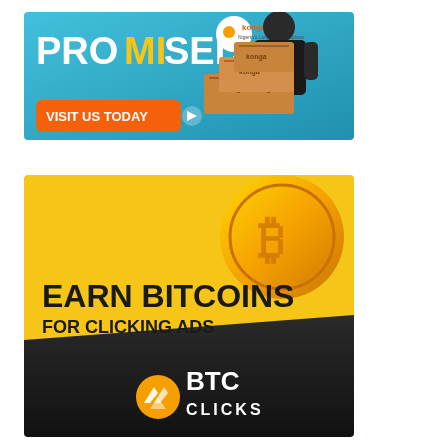[Figure (illustration): Konga e-commerce advertisement banner: blue background with 'PROMISED' text in white and yellow, delivery person holding konga branded boxes, orange 'VISIT US TODAY' button with arrow]
[Figure (illustration): BTC Clicks advertisement: yellow and dark background with bitcoin coin image, text 'EARN BITCOINS FOR CLICKING ADS', BTC Clicks logo at bottom]